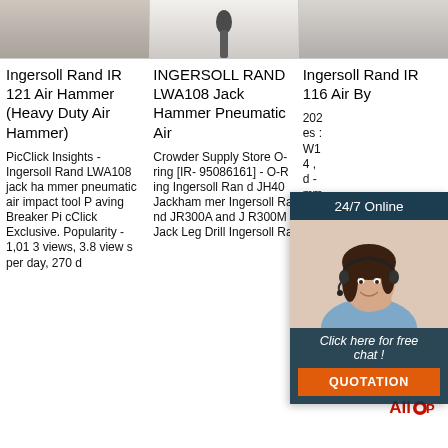[Figure (photo): Top strip showing three product images: left shows a metal air hammer (gray/beige tones), center shows a jack hammer tool (dark tip visible on white background), right shows a partially visible air hammer.]
Ingersoll Rand IR 121 Air Hammer (Heavy Duty Air Hammer)
INGERSOLL RAND LWA108 Jack Hammer Pneumatic Air
Ingersoll Rand IR 116 Air By
PicClick Insights - Ingersoll Rand LWA108 jack hammer pneumatic air impact tool Paving Breaker PicClick Exclusive. Popularity - 1,013 views, 3.8 views per day, 270 d
Crowder Supply Store O-ring [IR-95086161] - O-Ring Ingersoll Rand JH40 Jackhammer Ingersoll Rand JR300A and JR300M Jack Leg Drill Ingersoll Ra
202 es : W1 4 , d - mm 3, 4 and W1, W2 , W3, W4 All replacement p ts listed under other manufacturers
[Figure (photo): 24/7 Online chat widget overlay showing a female customer service agent with headset, dark background header '24/7 Online', body with agent photo, dark overlay text 'Click here for free chat!', and orange button 'QUOTATION']